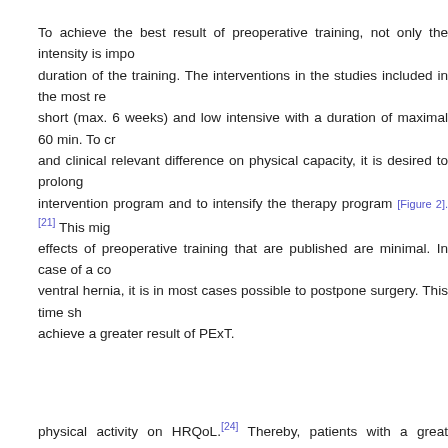To achieve the best result of preoperative training, not only the intensity is important but also the duration of the training. The interventions in the studies included in the most recent review were short (max. 6 weeks) and low intensive with a duration of maximal 60 min. To create a statistically and clinical relevant difference on physical capacity, it is desired to prolong the preoperative intervention program and to intensify the therapy program [Figure 2].[21] This might... effects of preoperative training that are published are minimal. In case of a co... ventral hernia, it is in most cases possible to postpone surgery. This time sh... achieve a greater result of PExT.
This website uses cookies. By continuing to use this website you are giving consent to cookies being used. For information on cookies and how you can disable them visit our Privacy and Cookie Policy. [AGREE & PROCEED button]
...on physical c... ...uted to the g... physical activity on HRQoL.[24] Thereby, patients with a great abdominal hernia a...